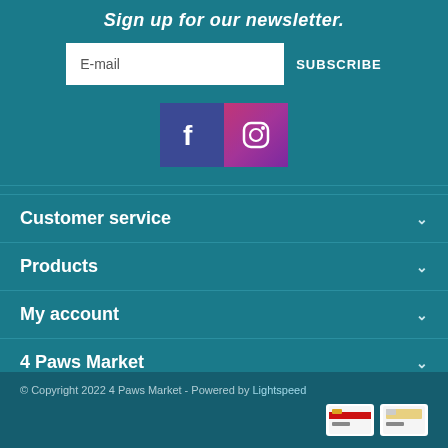Sign up for our newsletter.
E-mail
SUBSCRIBE
[Figure (logo): Facebook and Instagram social media icons side by side]
Customer service
Products
My account
4 Paws Market
© Copyright 2022 4 Paws Market - Powered by Lightspeed
[Figure (other): Payment method icons: credit card and another payment method]